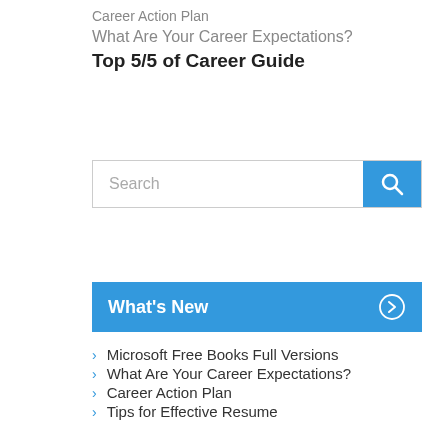Career Action Plan
What Are Your Career Expectations?
Top 5/5 of Career Guide
[Figure (screenshot): Search bar with text input field and blue search button with magnifying glass icon]
What's New
Microsoft Free Books Full Versions
What Are Your Career Expectations?
Career Action Plan
Tips for Effective Resume